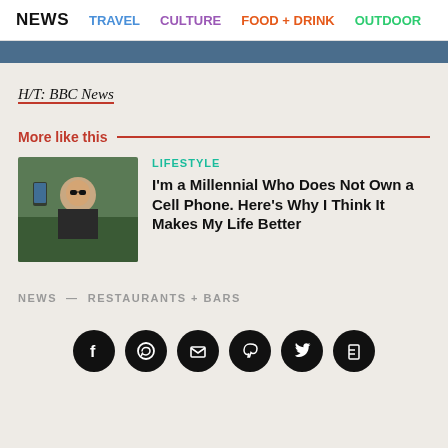NEWS  TRAVEL  CULTURE  FOOD + DRINK  OUTDOOR
[Figure (other): Blue banner/header bar]
H/T: BBC News
More like this
[Figure (photo): Thumbnail of person holding a phone outdoors]
LIFESTYLE
I'm a Millennial Who Does Not Own a Cell Phone. Here's Why I Think It Makes My Life Better
NEWS — RESTAURANTS + BARS
[Figure (infographic): Social media share icons: Facebook, WhatsApp, Email, Pinterest, Twitter, Flipboard]